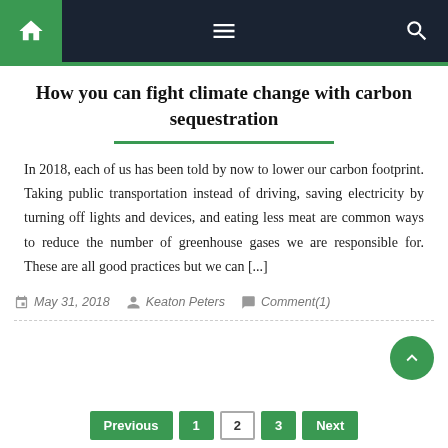Navigation bar with home, menu, and search icons
How you can fight climate change with carbon sequestration
In 2018, each of us has been told by now to lower our carbon footprint. Taking public transportation instead of driving, saving electricity by turning off lights and devices, and eating less meat are common ways to reduce the number of greenhouse gases we are responsible for. These are all good practices but we can [...]
May 31, 2018   Keaton Peters   Comment(1)